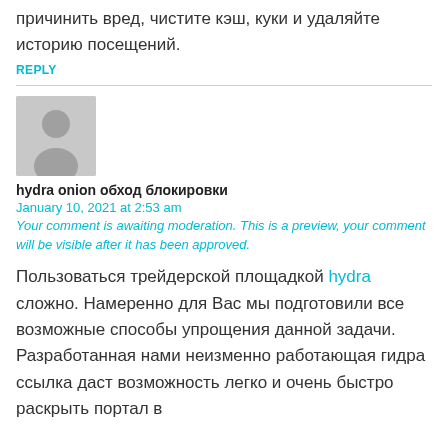причинить вред, чистите кэш, куки и удаляйте историю посещений.
REPLY
[Figure (illustration): Default grey avatar placeholder image showing silhouette of a person]
hydra onion обход блокировки
January 10, 2021 at 2:53 am
Your comment is awaiting moderation. This is a preview, your comment will be visible after it has been approved.
Пользоваться трейдерской площадкой hydra сложно. Намеренно для Вас мы подготовили все возможные способы упрощения данной задачи. Разработанная нами неизменно работающая гидра ссылка даст возможность легко и очень быстро раскрыть портал в